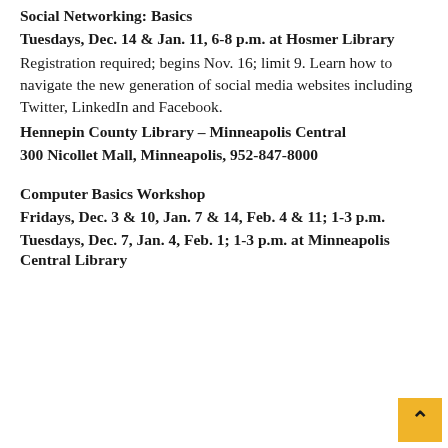Social Networking: Basics
Tuesdays, Dec. 14 & Jan. 11, 6-8 p.m. at Hosmer Library
Registration required; begins Nov. 16; limit 9. Learn how to navigate the new generation of social media websites including Twitter, LinkedIn and Facebook.
Hennepin County Library – Minneapolis Central
300 Nicollet Mall, Minneapolis, 952-847-8000
Computer Basics Workshop
Fridays, Dec. 3 & 10, Jan. 7 & 14, Feb. 4 & 11; 1-3 p.m.
Tuesdays, Dec. 7, Jan. 4, Feb. 1; 1-3 p.m. at Minneapolis Central Library